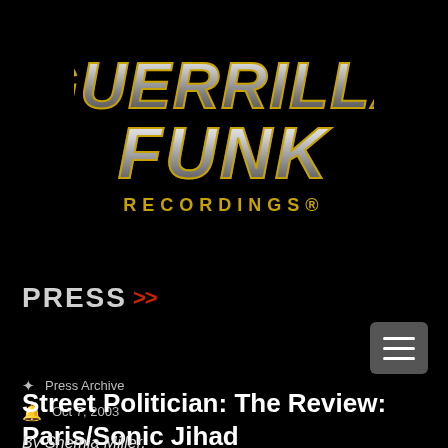[Figure (logo): Guerrilla Funk Recordings logo — stylized chrome/yellow text on black background]
PRESS >>
Press Archive
Oct 7, 2003
Street Politician: The Review: Paris/Sonic Jihad
By Shemia Miller,